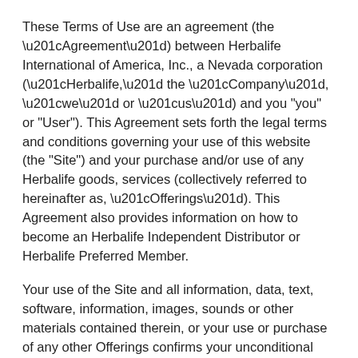These Terms of Use are an agreement (the “Agreement”) between Herbalife International of America, Inc., a Nevada corporation (“Herbalife,” the “Company”, “we” or “us”) and you “you” or “User”). This Agreement sets forth the legal terms and conditions governing your use of this website (the “Site”) and your purchase and/or use of any Herbalife goods, services (collectively referred to hereinafter as, “Offerings”). This Agreement also provides information on how to become an Herbalife Independent Distributor or Herbalife Preferred Member.
Your use of the Site and all information, data, text, software, information, images, sounds or other materials contained therein, or your use or purchase of any other Offerings confirms your unconditional agreement to be bound by this Agreement and is subject to your continued compliance with the terms and conditions of this Agreement. If you do not agree to be bound by this Agreement, do not access or otherwise use the Site or participate in any of the Offerings.
This Agreement and the Herbalife Privacy Policy and any other terms and policies incorporated herein by reference